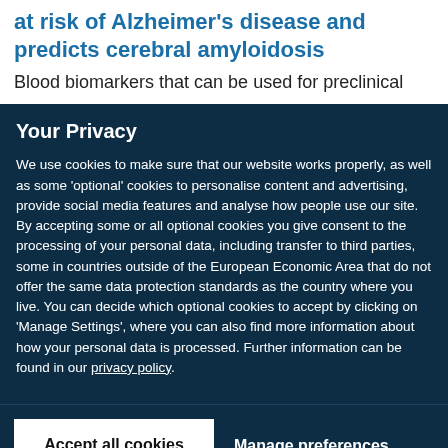at risk of Alzheimer's disease and predicts cerebral amyloidosis
Blood biomarkers that can be used for preclinical
Your Privacy
We use cookies to make sure that our website works properly, as well as some 'optional' cookies to personalise content and advertising, provide social media features and analyse how people use our site. By accepting some or all optional cookies you give consent to the processing of your personal data, including transfer to third parties, some in countries outside of the European Economic Area that do not offer the same data protection standards as the country where you live. You can decide which optional cookies to accept by clicking on 'Manage Settings', where you can also find more information about how your personal data is processed. Further information can be found in our privacy policy.
Accept all cookies
Manage preferences